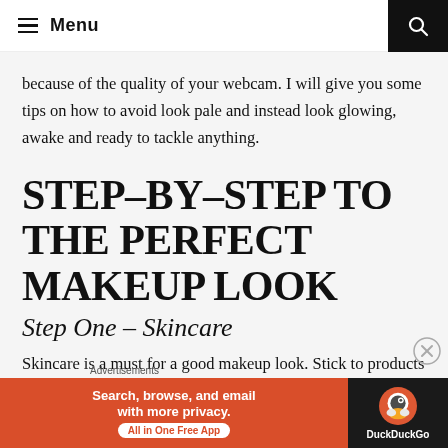Menu
because of the quality of your webcam. I will give you some tips on how to avoid look pale and instead look glowing, awake and ready to tackle anything.
STEP–BY–STEP TO THE PERFECT MAKEUP LOOK
Step One – Skincare
Skincare is a must for a good makeup look. Stick to products your skin knows and do not try anything new in the week
[Figure (screenshot): DuckDuckGo advertisement banner: 'Search, browse, and email with more privacy. All in One Free App' with DuckDuckGo logo on dark background]